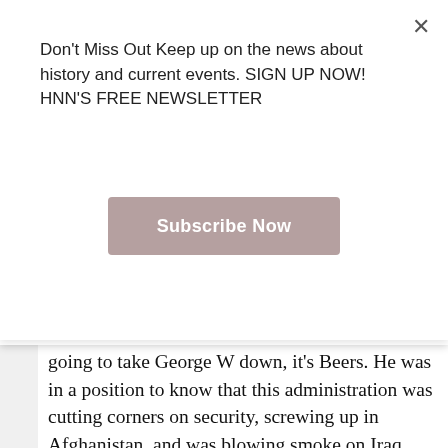Don't Miss Out Keep up on the news about history and current events. SIGN UP NOW! HNN'S FREE NEWSLETTER
Subscribe Now
going to take George W down, it's Beers. He was in a position to know that this administration was cutting corners on security, screwing up in Afghanistan, and was blowing smoke on Iraq. He also was in the perfect position to know that the war with Iraq was making us less safe, not more.
This is quite a story. NSC people don't work to defeat their bosses. You can tell